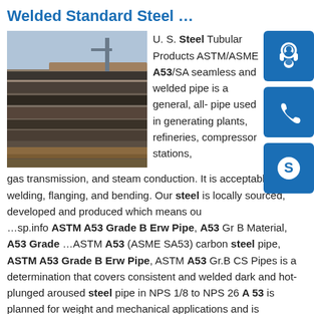Welded Standard Steel …
[Figure (photo): Stack of dark steel plates/pipes outdoors]
U. S. Steel Tubular Products ASTM/ASME A53/SA seamless and welded pipe is a general, all- pipe used in generating plants, refineries, compressor stations, gas transmission, and steam conduction. It is acceptable for welding, flanging, and bending. Our steel is locally sourced, developed and produced which means ou ...sp.info ASTM A53 Grade B Erw Pipe, A53 Gr B Material, A53 Grade …ASTM A53 (ASME SA53) carbon steel pipe, ASTM A53 Grade B Erw Pipe, ASTM A53 Gr.B CS Pipes is a determination that covers consistent and welded dark and hot-plunged aroused steel pipe in NPS 1/8 to NPS 26 A 53 is planned for weight and mechanical applications and is additionally adequate for